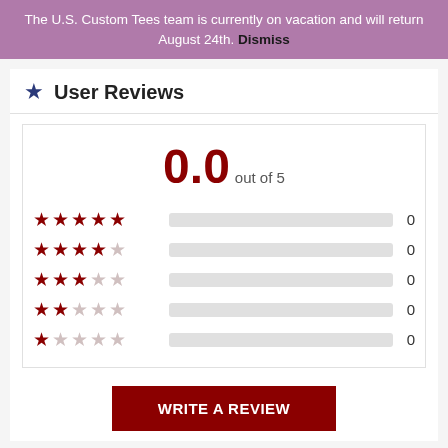The U.S. Custom Tees team is currently on vacation and will return August 24th. Dismiss
User Reviews
[Figure (other): User review rating panel showing 0.0 out of 5 overall score, with 5 rows of star ratings (5-star through 1-star), each with an empty progress bar and a count of 0.]
WRITE A REVIEW